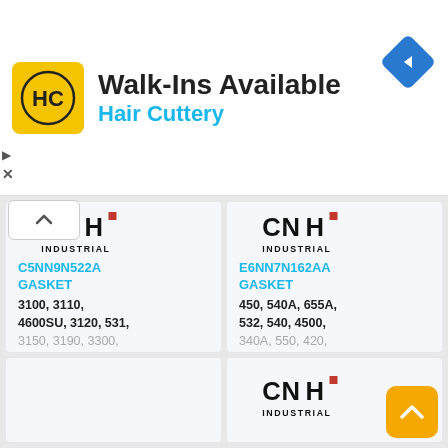[Figure (logo): Hair Cuttery advertisement banner with HC logo, text 'Walk-Ins Available' and 'Hair Cuttery', and a blue navigation diamond icon]
[Figure (logo): CNH Industrial logo on product card for C5NN9N522A GASKET]
C5NN9N522A GASKET
3100, 3110, 4600SU, 3120, 531, 3150, 3190, 3300,
[Figure (logo): CNH Industrial logo on product card for E6NN7N162AA GASKET]
E6NN7N162AA GASKET
450, 540A, 655A, 532, 540, 4500, 340A, 550, 420,
[Figure (logo): CNH Industrial logo on bottom-right product card (partially visible)]